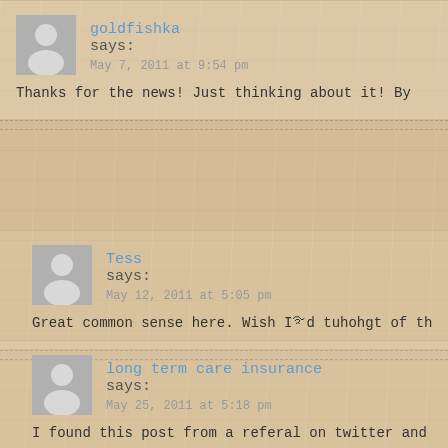goldfishka says:
May 7, 2011 at 9:54 pm
Thanks for the news! Just thinking about it! By
Tess says:
May 12, 2011 at 5:05 pm
Great common sense here. Wish I'd tuhohgt of th
long term care insurance says:
May 25, 2011 at 5:18 pm
I found this post from a referal on twitter and